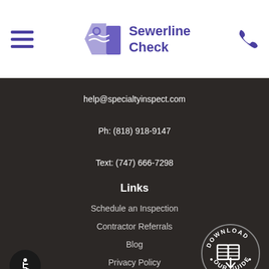Sewerline Check – navigation header with hamburger menu and phone icon
help@specialtyinspect.com
Ph: (818) 918-9147
Text: (747) 666-7298
Links
Schedule an Inspection
Contractor Referrals
Blog
Privacy Policy
Terms Of Use
[Figure (logo): Download Our Guide circular badge with open book icon]
[Figure (logo): Accessibility wheelchair icon badge]